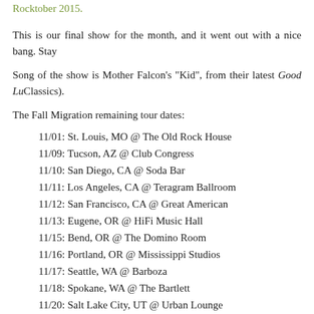Rocktober 2015.
This is our final show for the month, and it went out with a nice bang. Stay
Song of the show is Mother Falcon's "Kid", from their latest Good Lu... Classics).
The Fall Migration remaining tour dates:
11/01: St. Louis, MO @ The Old Rock House
11/09: Tucson, AZ @ Club Congress
11/10: San Diego, CA @ Soda Bar
11/11: Los Angeles, CA @ Teragram Ballroom
11/12: San Francisco, CA @ Great American
11/13: Eugene, OR @ HiFi Music Hall
11/15: Bend, OR @ The Domino Room
11/16: Portland, OR @ Mississippi Studios
11/17: Seattle, WA @ Barboza
11/18: Spokane, WA @ The Bartlett
11/20: Salt Lake City, UT @ Urban Lounge
11/21: Denver, CO @ Bluebird Theater